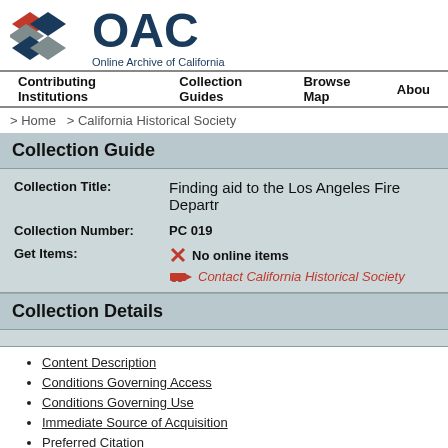[Figure (logo): OAC Online Archive of California logo with geometric diamond shape in red, navy, and gray]
Contributing Institutions  Collection Guides  Browse Map  About
> Home  > California Historical Society
Collection Guide
Collection Title: Finding aid to the Los Angeles Fire Depart...
Collection Number: PC 019
Get Items: No online items
Contact California Historical Society
Collection Details
Content Description
Conditions Governing Access
Conditions Governing Use
Immediate Source of Acquisition
Preferred Citation